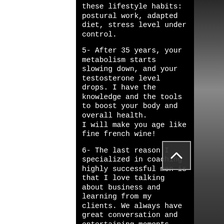these lifestyle habits: postural work, adapted diet, stress level under control.
5- After 35 years, your metabolism starts slowing down, and your testosterone level drops. I have the knowledge and the tools to boost your body and overall health.
I will make you age like fine french wine!
6- The last reason I specialized in coaching highly successful men is that I love talking about business and learning from my clients. We always have great conversation and entertaining moments during our workouts.
I also like to connect my clients with one another if I know it can benefit their professional network.